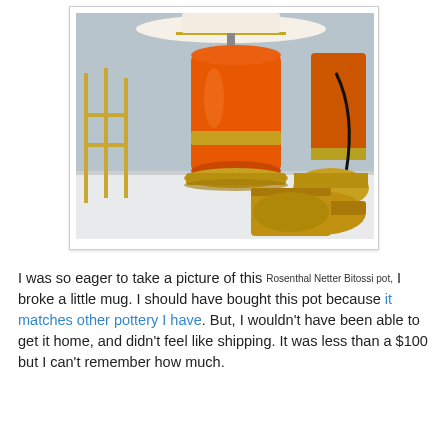[Figure (photo): An orange ceramic lamp base with gold band accent, sitting on a white shelf surrounded by brass candlesticks and gold decorative objects, with a white lampshade visible at top.]
I was so eager to take a picture of this Rosenthal Netter Bitossi pot, I broke a little mug. I should have bought this pot because it matches other pottery I have. But, I wouldn't have been able to get it home, and didn't feel like shipping. It was less than a $100 but I can't remember how much.